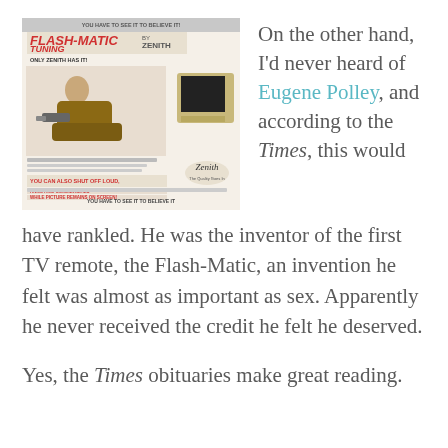[Figure (photo): Vintage Flash-Matic Tuning advertisement by Zenith showing a person in a chair using a remote control device, with text 'YOU HAVE TO SEE IT TO BELIEVE IT! FLASH-MATIC TUNING BY ZENITH ONLY ZENITH HAS IT!']
On the other hand, I'd never heard of Eugene Polley, and according to the Times, this would have rankled. He was the inventor of the first TV remote, the Flash-Matic, an invention he felt was almost as important as sex. Apparently he never received the credit he felt he deserved.
Yes, the Times obituaries make great reading.